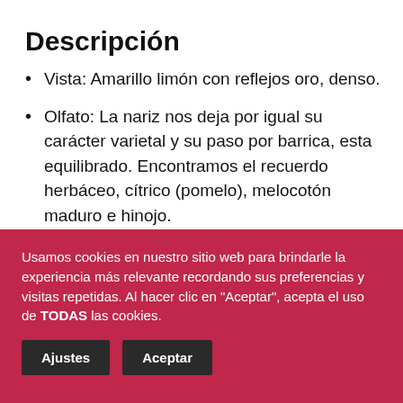Descripción
Vista: Amarillo limón con reflejos oro, denso.
Olfato: La nariz nos deja por igual su carácter varietal y su paso por barrica, esta equilibrado. Encontramos el recuerdo herbáceo, cítrico (pomelo), melocotón maduro e hinojo.
Usamos cookies en nuestro sitio web para brindarle la experiencia más relevante recordando sus preferencias y visitas repetidas. Al hacer clic en "Aceptar", acepta el uso de TODAS las cookies.